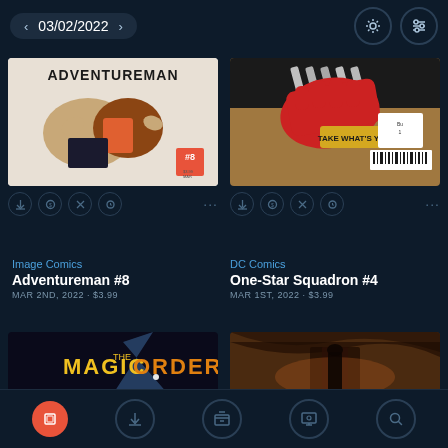03/02/2022
[Figure (screenshot): Comic book cover for Adventureman #8 by Image Comics showing characters in action]
Image Comics
Adventureman #8
MAR 2ND, 2022 · $3.99
[Figure (screenshot): Comic book cover for One-Star Squadron #4 by DC Comics showing a red gloved hand taking items with text 'Take What's Yours']
DC Comics
One-Star Squadron #4
MAR 1ST, 2022 · $3.99
[Figure (screenshot): Partially visible comic book cover for The Magic Order]
[Figure (screenshot): Partially visible comic book cover with dark orange/brown tones]
Bottom navigation bar with home, download, library, reading, and search icons